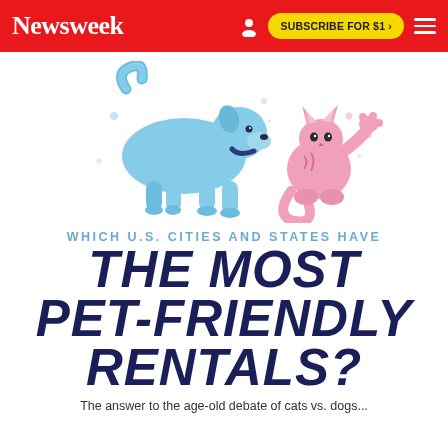Newsweek | SUBSCRIBE FOR $1 >
[Figure (illustration): Cartoon illustration of a blue dog playfully bowing toward a pink cat with paw raised, on a white background with decorative dots]
WHICH U.S. CITIES AND STATES HAVE
THE MOST PET-FRIENDLY RENTALS?
The answer to the age-old debate of cats vs. dogs...